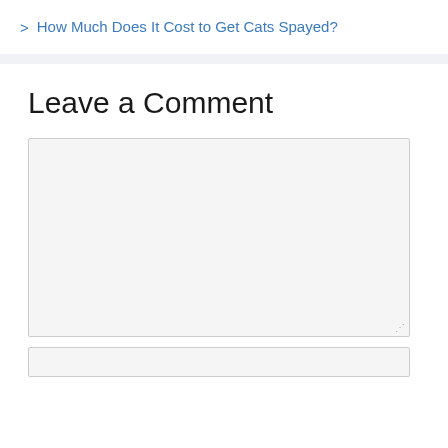> How Much Does It Cost to Get Cats Spayed?
Leave a Comment